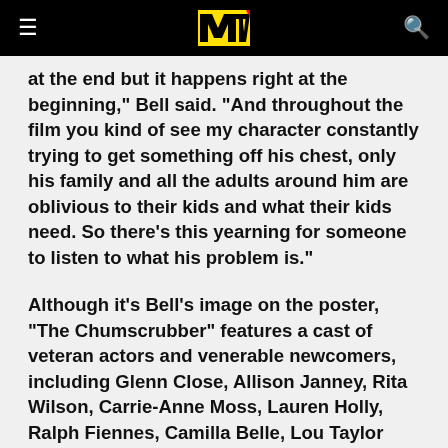MTV
at the end but it happens right at the beginning," Bell said. "And throughout the film you kind of see my character constantly trying to get something off his chest, only his family and all the adults around him are oblivious to their kids and what their kids need. So there's this yearning for someone to listen to what his problem is."
Although it's Bell's image on the poster, "The Chumscrubber" features a cast of veteran actors and venerable newcomers, including Glenn Close, Allison Janney, Rita Wilson, Carrie-Anne Moss, Lauren Holly, Ralph Fiennes, Camilla Belle, Lou Taylor Pucci ("Thumbsucker"), Justin Chatwin ("War of the Worlds") and Rory Culkin.